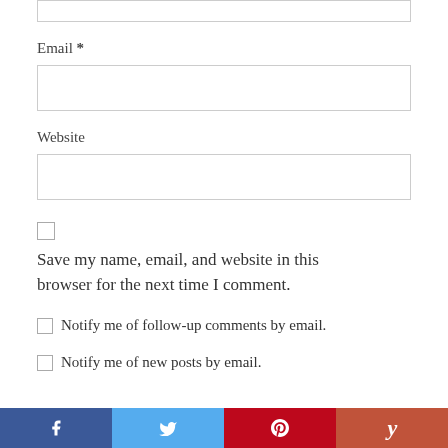Email *
Website
Save my name, email, and website in this browser for the next time I comment.
Notify me of follow-up comments by email.
Notify me of new posts by email.
[Figure (other): Social sharing bar with Facebook, Twitter, Pinterest, and Yummly buttons]